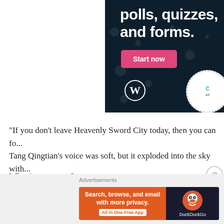[Figure (screenshot): Top-right advertisement banner with dark navy background showing 'polls, quizzes, and forms.' text with a pink 'Start now' button and WordPress logo, plus partial white dotted circle on the right edge.]
“If you don’t leave Heavenly Sword City today, then you can fo... Tang Qingtian’s voice was soft, but it exploded into the sky with...
What is arrogance?
This was true arrogance!
[Figure (screenshot): Bottom advertisement bar showing DuckDuckGo ad: 'Search, browse, and email with more privacy. All in One Free App' on orange background with DuckDuckGo logo on dark background.]